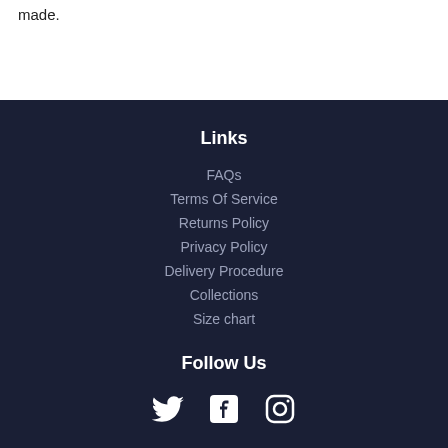made.
Links
FAQs
Terms Of Service
Returns Policy
Privacy Policy
Delivery Procedure
Collections
Size chart
Follow Us
[Figure (illustration): Social media icons: Twitter bird, Facebook f, Instagram camera outline]